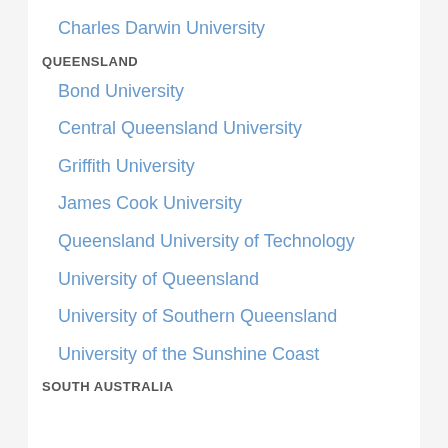Charles Darwin University
QUEENSLAND
Bond University
Central Queensland University
Griffith University
James Cook University
Queensland University of Technology
University of Queensland
University of Southern Queensland
University of the Sunshine Coast
SOUTH AUSTRALIA